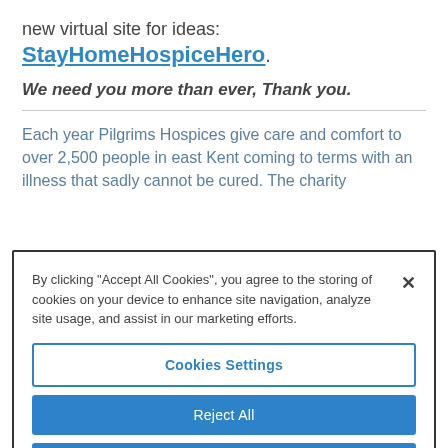new virtual site for ideas: StayHomeHospiceHero.
We need you more than ever, Thank you.
Each year Pilgrims Hospices give care and comfort to over 2,500 people in east Kent coming to terms with an illness that sadly cannot be cured.  The charity
[Figure (screenshot): Cookie consent banner with options: Cookies Settings, Reject All, Accept All Cookies, and a close button (X).]